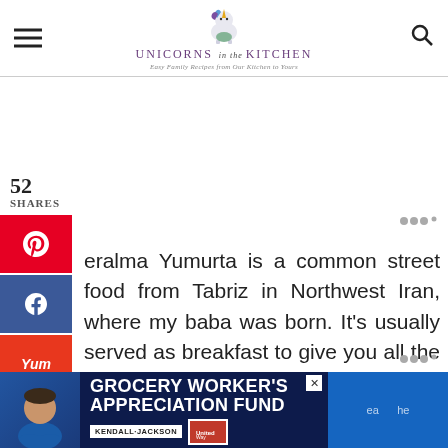Unicorns in the Kitchen — Easy family recipes from the kitchen to yours
52 SHARES
[Figure (screenshot): Social share sidebar with Pinterest, Facebook, and Yummly buttons]
Geralma Yumurta is a common street food from Tabriz in Northwest Iran, where my baba was born. It's usually served as breakfast to give you all the energy you need to go through the day until lunch. The main ingredients are potatoes and eggs
[Figure (screenshot): Advertisement banner: Grocery Worker's Appreciation Fund with Kendall Jackson and United Way logos]